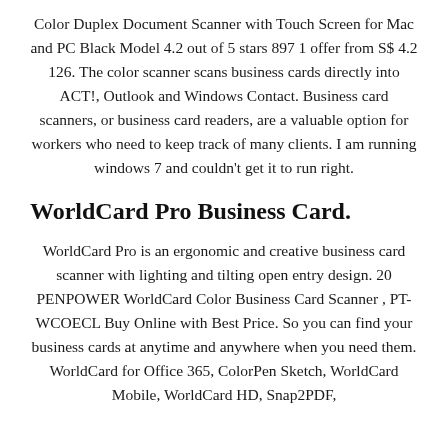Color Duplex Document Scanner with Touch Screen for Mac and PC Black Model 4.2 out of 5 stars 897 1 offer from S$ 4.2 126. The color scanner scans business cards directly into ACT!, Outlook and Windows Contact. Business card scanners, or business card readers, are a valuable option for workers who need to keep track of many clients. I am running windows 7 and couldn't get it to run right.
WorldCard Pro Business Card.
WorldCard Pro is an ergonomic and creative business card scanner with lighting and tilting open entry design. 20 PENPOWER WorldCard Color Business Card Scanner , PT-WCOECL Buy Online with Best Price. So you can find your business cards at anytime and anywhere when you need them. WorldCard for Office 365, ColorPen Sketch, WorldCard Mobile, WorldCard HD, Snap2PDF,